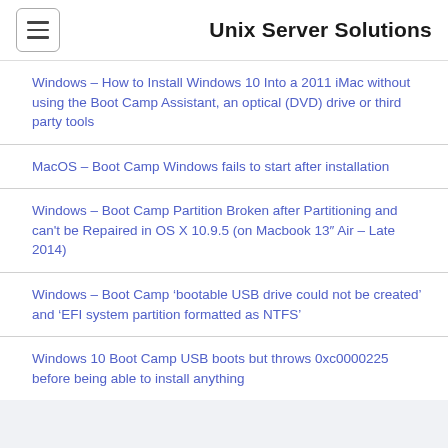Unix Server Solutions
Windows – How to Install Windows 10 Into a 2011 iMac without using the Boot Camp Assistant, an optical (DVD) drive or third party tools
MacOS – Boot Camp Windows fails to start after installation
Windows – Boot Camp Partition Broken after Partitioning and can't be Repaired in OS X 10.9.5 (on Macbook 13″ Air – Late 2014)
Windows – Boot Camp 'bootable USB drive could not be created' and 'EFI system partition formatted as NTFS'
Windows 10 Boot Camp USB boots but throws 0xc0000225 before being able to install anything